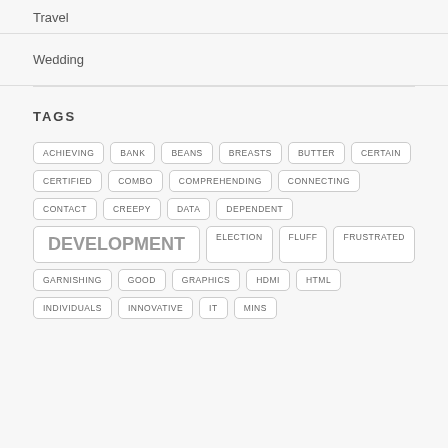Travel
Wedding
TAGS
ACHIEVING
BANK
BEANS
BREASTS
BUTTER
CERTAIN
CERTIFIED
COMBO
COMPREHENDING
CONNECTING
CONTACT
CREEPY
DATA
DEPENDENT
DEVELOPMENT
ELECTION
FLUFF
FRUSTRATED
GARNISHING
GOOD
GRAPHICS
HDMI
HTML
INDIVIDUALS
INNOVATIVE
IT
MINS